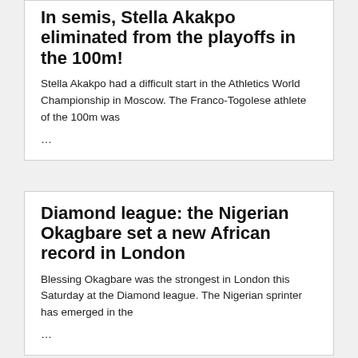In semis, Stella Akakpo eliminated from the playoffs in the 100m!
Stella Akakpo had a difficult start in the Athletics World Championship in Moscow. The Franco-Togolese athlete of the 100m was
...
Diamond league: the Nigerian Okagbare set a new African record in London
Blessing Okagbare was the strongest in London this Saturday at the Diamond league. The Nigerian sprinter has emerged in the
...